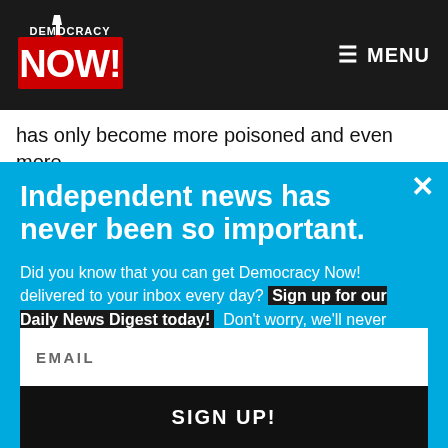Democracy Now! — MENU
has only become more poisoned and even more combative in the period since then. I think The New Yo
Independent news has never been so important.
Did you know that you can get Democracy Now! delivered to your inbox every day? Sign up for our Daily News Digest today! Don't worry, we'll never share or sell your information.
EMAIL
SIGN UP!